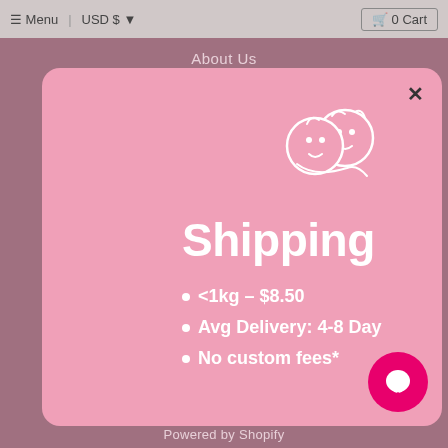≡ Menu  |  USD $  ▼        🛒 0 Cart
About Us
[Figure (screenshot): Pink shipping info modal popup with baby cartoon logo, title 'Shipping', bullet list: <1kg – $8.50, Avg Delivery: 4-8 Days, No custom fees*. Close button top right. Pink chat bubble icon bottom right.]
Powered by Shopify